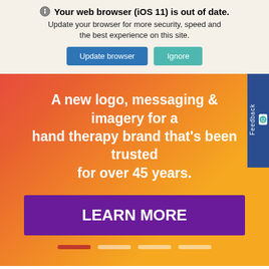Your web browser (iOS 11) is out of date. Update your browser for more security, speed and the best experience on this site.
A new logo, messaging & imagery for a hand therapy brand that's been trusted for over 45 years.
LEARN MORE
[Figure (screenshot): Feedback tab on right side of browser window]